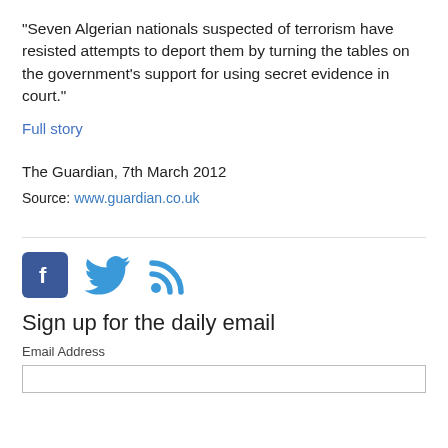“Seven Algerian nationals suspected of terrorism have resisted attempts to deport them by turning the tables on the government’s support for using secret evidence in court.”
Full story
The Guardian, 7th March 2012
Source: www.guardian.co.uk
[Figure (infographic): Social media icons: Facebook (blue square with F), Twitter (blue bird), RSS feed (blue wifi/signal icon)]
Sign up for the daily email
Email Address